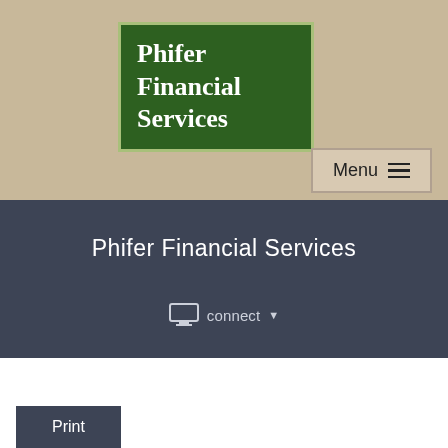[Figure (logo): Phifer Financial Services logo — dark green rectangle with white serif text reading 'Phifer Financial Services', bordered by a light green outline, set on a tan/khaki background header area]
Menu ≡
Phifer Financial Services
connect ▾
Print